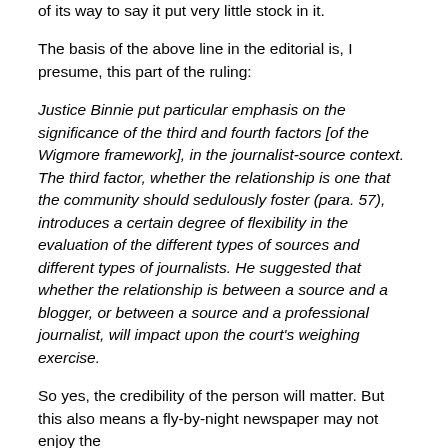of its way to say it put very little stock in it.
The basis of the above line in the editorial is, I presume, this part of the ruling:
Justice Binnie put particular emphasis on the significance of the third and fourth factors [of the Wigmore framework], in the journalist-source context. The third factor, whether the relationship is one that the community should sedulously foster (para. 57), introduces a certain degree of flexibility in the evaluation of the different types of sources and different types of journalists. He suggested that whether the relationship is between a source and a blogger, or between a source and a professional journalist, will impact upon the court's weighing exercise.
So yes, the credibility of the person will matter. But this also means a fly-by-night newspaper may not enjoy the